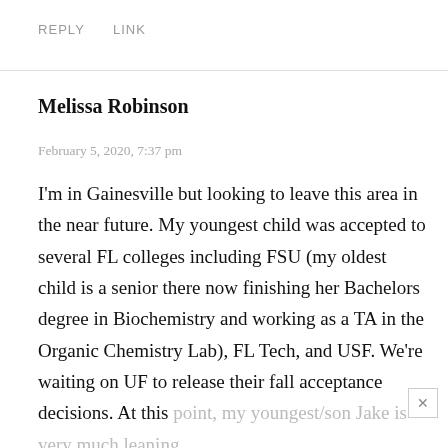REPLY   LINK
Melissa Robinson
February 5, 2020, 7:37 pm
I'm in Gainesville but looking to leave this area in the near future. My youngest child was accepted to several FL colleges including FSU (my oldest child is a senior there now finishing her Bachelors degree in Biochemistry and working as a TA in the Organic Chemistry Lab), FL Tech, and USF. We're waiting on UF to release their fall acceptance decisions. At this point, my youngest/son Jake is very much leaning